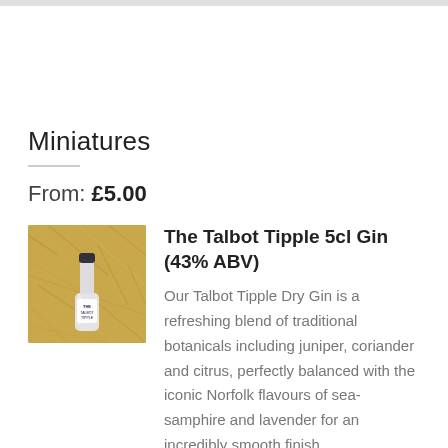Miniatures
From: £5.00
[Figure (photo): A small gin bottle (The Talbot Tipple) nestled in straw/hay packaging material, viewed from above.]
The Talbot Tipple 5cl Gin (43% ABV)
Our Talbot Tipple Dry Gin is a refreshing blend of traditional botanicals including juniper, coriander and citrus, perfectly balanced with the iconic Norfolk flavours of sea-samphire and lavender for an incredibly smooth finish.